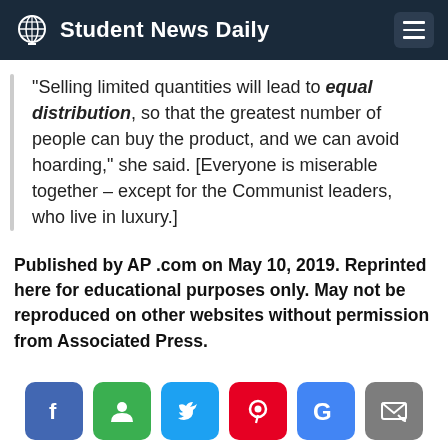Student News Daily
“Selling limited quantities will lead to equal distribution, so that the greatest number of people can buy the product, and we can avoid hoarding,” she said. [Everyone is miserable together – except for the Communist leaders, who live in luxury.]
Published by AP .com on May 10, 2019. Reprinted here for educational purposes only. May not be reproduced on other websites without permission from Associated Press.
[Figure (other): Social sharing buttons: Facebook, Google+, Twitter, Pinterest, Google, Email]